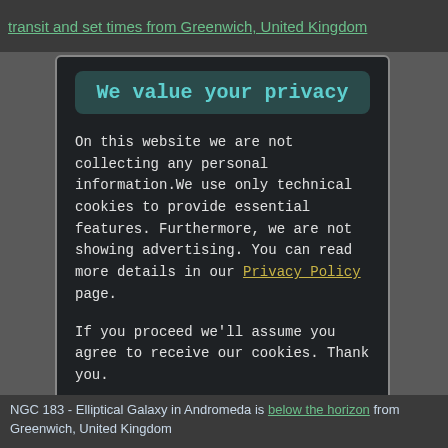transit and set times from Greenwich, United Kingdom
We value your privacy
On this website we are not collecting any personal information.We use only technical cookies to provide essential features. Furthermore, we are not showing advertising. You can read more details in our Privacy Policy page.
If you proceed we'll assume you agree to receive our cookies. Thank you.
Proceed to TheSkyLive.com
NGC 183 - Elliptical Galaxy in Andromeda is below the horizon from Greenwich, United Kingdom